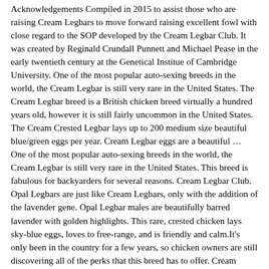Acknowledgements Compiled in 2015 to assist those who are raising Cream Legbars to move forward raising excellent fowl with close regard to the SOP developed by the Cream Legbar Club. It was created by Reginald Crundall Punnett and Michael Pease in the early twentieth century at the Genetical Institue of Cambridge University. One of the most popular auto-sexing breeds in the world, the Cream Legbar is still very rare in the United States. The Cream Legbar breed is a British chicken breed virtually a hundred years old, however it is still fairly uncommon in the United States. The Cream Crested Legbar lays up to 200 medium size beautiful blue/green eggs per year. Cream Legbar eggs are a beautiful … One of the most popular auto-sexing breeds in the world, the Cream Legbar is still very rare in the United States. This breed is fabulous for backyarders for several reasons. Cream Legbar Club. Opal Legbars are just like Cream Legbars, only with the addition of the lavender gene. Opal Legbar males are beautifully barred lavender with golden highlights. This rare, crested chicken lays sky-blue eggs, loves to free-range, and is friendly and calm.It's only been in the country for a few years, so chicken owners are still discovering all of the perks that this breed has to offer. Cream Legbars are a slender, elegant breed; Males have cream neck and saddle and grey chest, legs and wings and have barred (striped) feathering. They are not considered as good winter layers. Breeding two different breeds together creates a hybrid, which must then be bred back to type over many generations until the